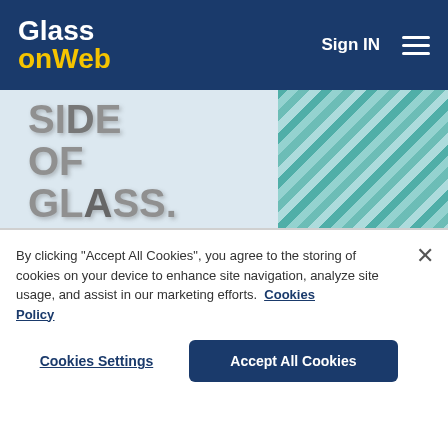Glass on Web | Sign IN
[Figure (illustration): Şişecam Flat Glass advertisement banner showing 'Side of Glass' text in chrome 3D letters with #ChooseRightGlass hashtag, teal striped geometric design, and Şişecam Flat Glass logo]
This includes filtering of glass particles of < 5 μm or less but doing so using far less energy, creating a
By clicking "Accept All Cookies", you agree to the storing of cookies on your device to enhance site navigation, analyze site usage, and assist in our marketing efforts. Cookies Policy
Cookies Settings
Accept All Cookies